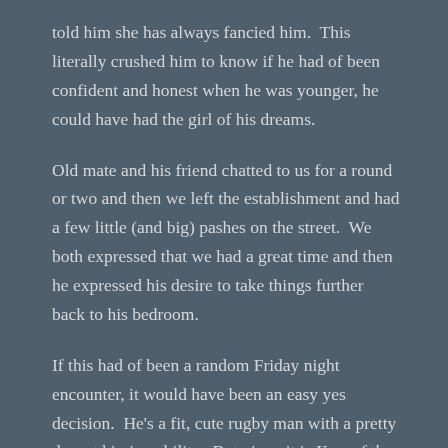told him she has always fancied him.  This literally crushed him to know if he had of been confident and honest when he was younger, he could have had the girl of his dreams.
Old mate and his friend chatted to us for a round or two and then we left the establishment and had a few little (and big) pashes on the street.  We both expressed that we had a great time and then he expressed his desire to take things further back to his bedroom.
If this had of been a random Friday night encounter, it would have been an easy yes decision.  He's a fit, cute rugby man with a pretty decent kissing ability.  But given it is Year of the Date, the focus is on dating and not one nighters, I politely declined and we headed off